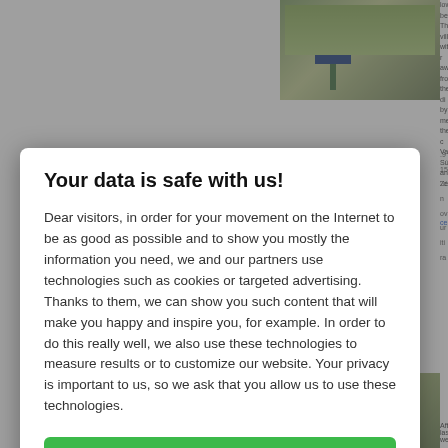[Figure (screenshot): Partial background webpage showing a village sign post image in the top right, partial text about a lowland village, partially visible links and numbers on the right edge, and a partial landscape photo at the bottom.]
Your data is safe with us!
Dear visitors, in order for your movement on the Internet to be as good as possible and to show you mostly the information you need, we and our partners use technologies such as cookies or targeted advertising. Thanks to them, we can show you such content that will make you happy and inspire you, for example. In order to do this really well, we also use these technologies to measure results or to customize our website. Your privacy is important to us, so we ask that you allow us to use these technologies.
Accept
Deny
Set